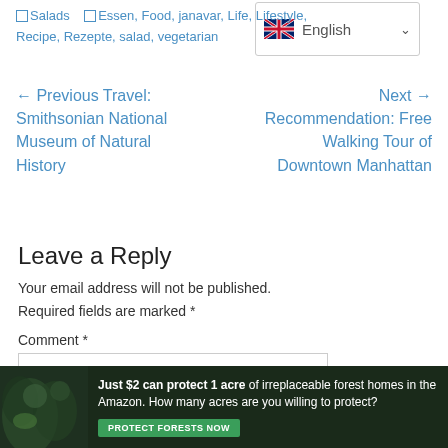[Figure (screenshot): Language selector widget showing UK flag and 'English' with dropdown arrow]
□Salads  □Essen, Food, janavar, Life, Lifestyle, Recipe, Rezepte, salad, vegetarian
← Previous Travel: Smithsonian National Museum of Natural History
Next → Recommendation: Free Walking Tour of Downtown Manhattan
Leave a Reply
Your email address will not be published. Required fields are marked *
Comment *
[Figure (photo): Advertisement banner: Just $2 can protect 1 acre of irreplaceable forest homes in the Amazon. How many acres are you willing to protect? PROTECT FORESTS NOW]